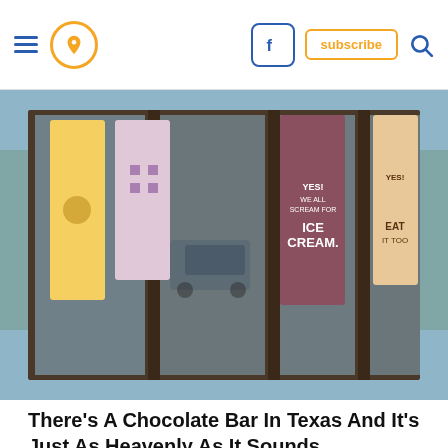Navigation bar with hamburger menu, location pin icon, Facebook icon, subscribe button, and search icon
[Figure (photo): Exterior storefront photo of a chocolate bar/ice cream shop in Texas, showing colorful promotional banners in the windows including ones that read 'YES! ICE CREAM' and 'EAT IT TOO', with cars visible in the reflection]
There’s A Chocolate Bar In Texas And It’s Just As Heavenly As It Sounds
[Figure (logo): Only In Your State logo with orange location pin icon and text reading ONLY IN YOUR STATE]
[Figure (screenshot): Advertisement banner with blue background showing Hill's pet food logo and text: the best nutrients for their best life]
Posted in
There’s A Chocolate Bar In Texas And It’s Just As Heavenly As It...